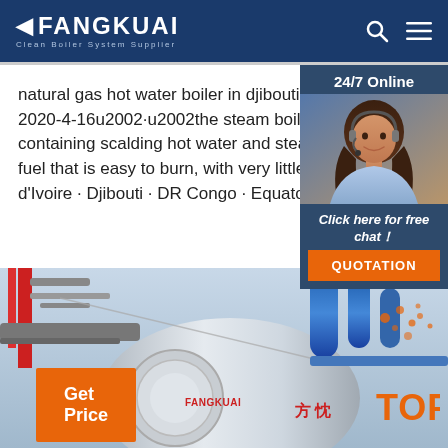FANGKUAI Clean Boiler System Supplier
natural gas hot water boiler in djibouti – Horizo 2020-4-16u2002·u2002the steam boiler is a pres containing scalding hot water and steam Gas is fuel that is easy to burn, with very little excess a d'Ivoire · Djibouti · DR Congo · Equatorial Guine
Get Price
24/7 Online
Click here for free chat！
QUOTATION
[Figure (photo): Industrial boiler equipment and machinery, showing a large cylindrical silver boiler with FANGKUAI branding and Chinese characters, alongside blue industrial piping and equipment]
TOP